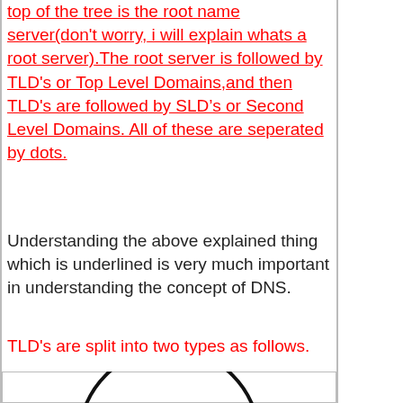top of the tree is the root name server(don't worry, i will explain whats a root server).The root server is followed by TLD's or Top Level Domains,and then TLD's are followed by SLD's or Second Level Domains. All of these are seperated by dots.
Understanding the above explained thing which is underlined is very much important in understanding the concept of DNS.
The root server is represented by a .(a dot).
TLD's are split into two types as follows.
[Figure (illustration): Bottom portion of a diagram showing an arc/semicircle shape at the bottom of the page, partially visible]